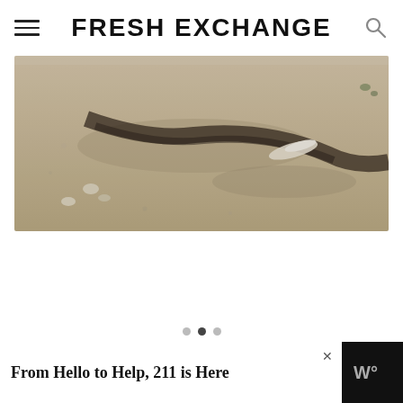FRESH EXCHANGE
[Figure (photo): Close-up photograph of sandy beach ground with small shells, seaweed, debris, and a white feather or plastic item on wet sand]
[Figure (other): Carousel navigation dots — three dots, middle one darker/selected]
From Hello to Help, 211 is Here